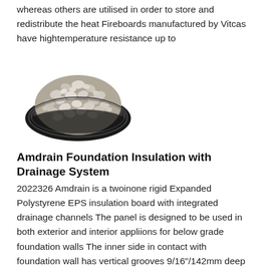whereas others are utilised in order to store and redistribute the heat Fireboards manufactured by Vitcas have hightemperature resistance up to
[Figure (photo): A bowl-shaped black dish filled with small white/cream colored gravel or perlite aggregate material, photographed from a slightly elevated angle against a white background.]
Amdrain Foundation Insulation with Drainage System
2022326 Amdrain is a twoinone rigid Expanded Polystyrene EPS insulation board with integrated drainage channels The panel is designed to be used in both exterior and interior appliions for below grade foundation walls The inner side in contact with foundation wall has vertical grooves 9/16"/142mm deep creating small air gaps and